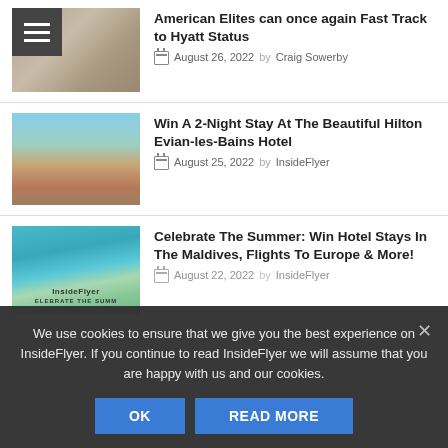[Figure (photo): Building facade photo with hamburger menu icon overlay]
American Elites can once again Fast Track to Hyatt Status
August 26, 2022 by Craig Sowerby
[Figure (photo): Aerial view of Hilton Evian-les-Bains Hotel resort with lake and mountains]
Win A 2-Night Stay At The Beautiful Hilton Evian-les-Bains Hotel
August 25, 2022 by InsideFlyer
[Figure (photo): Aerial view of Maldives resort with InsideFlyer and CELEBRATE THE SUMM text overlay]
Celebrate The Summer: Win Hotel Stays In The Maldives, Flights To Europe & More!
August 22, 2022 by InsideFlyer
We use cookies to ensure that we give you the best experience on InsideFlyer. If you continue to read InsideFlyer we will assume that you are happy with us and our cookies.